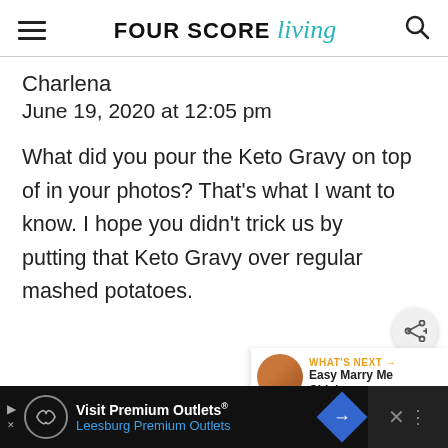FOUR SCORE living
Charlena
June 19, 2020 at 12:05 pm
What did you pour the Keto Gravy on top of in your photos? That's what I want to know. I hope you didn't trick us by putting that Keto Gravy over regular mashed potatoes.
REPLY
Visit Premium Outlets® Leesburg Premium Outlets